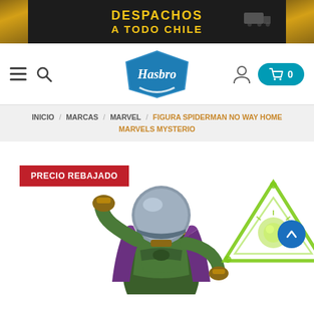[Figure (screenshot): Banner ad with dark background and gold accent showing text DESPACHOS A TODO CHILE with delivery and Monopoly man illustrations]
[Figure (logo): Hasbro logo — white cursive text on blue diamond/pillow shape]
Navigation bar with hamburger menu, search icon, Hasbro logo centered, user icon and cart button (0 items)
INICIO / MARCAS / MARVEL / FIGURA SPIDERMAN NO WAY HOME MARVELS MYSTERIO
PRECIO REBAJADO
[Figure (photo): Mysterio action figure from Spider-Man No Way Home, green armored suit with purple cape, fish bowl helmet, holding a green triangular energy effect accessory, shown from behind/side angle. PRECIO REBAJADO badge on upper left.]